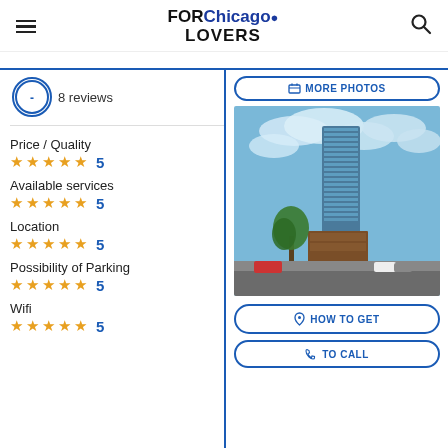FOR Chicago LOVERS
8 reviews
MORE PHOTOS
Price / Quality
★★★★★ 5
Available services
★★★★★ 5
Location
★★★★★ 5
Possibility of Parking
★★★★★ 5
Wifi
★★★★★ 5
[Figure (photo): Tall modern glass skyscraper building with blue sky and clouds]
HOW TO GET
TO CALL